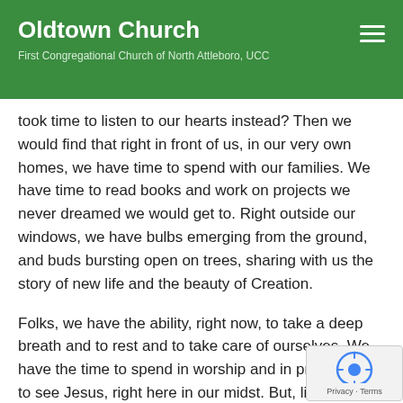Oldtown Church
First Congregational Church of North Attleboro, UCC
took time to listen to our hearts instead? Then we would find that right in front of us, in our very own homes, we have time to spend with our families. We have time to read books and work on projects we never dreamed we would get to. Right outside our windows, we have bulbs emerging from the ground, and buds bursting open on trees, sharing with us the story of new life and the beauty of Creation.
Folks, we have the ability, right now, to take a deep breath and to rest and to take care of ourselves. We have the time to spend in worship and in prayer and to see Jesus, right here in our midst. But, like the disciples on that road to Emmaus that day, our eyes are kept from seeing him. We are blinded by the hype and unable to see the good that is around us.